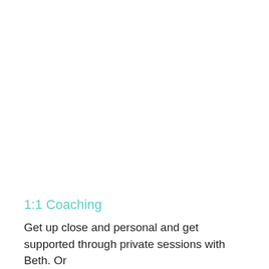1:1 Coaching
Get up close and personal and get supported through private sessions with Beth. Or consider 1:1 coaching to make a great...